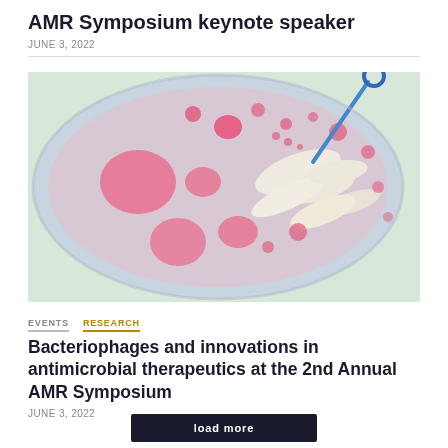AMR Symposium keynote speaker
JUNE 3, 2022
[Figure (illustration): Scientific illustration of a petri dish viewed from above showing pink/red bacterial colonies and white bacterial rod shapes on a light purple/green background, with a blue inoculation loop inserted from the right side.]
EVENTS  RESEARCH
Bacteriophages and innovations in antimicrobial therapeutics at the 2nd Annual AMR Symposium
JUNE 3, 2022